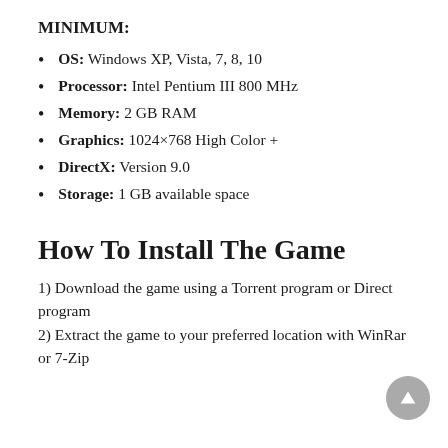MINIMUM:
OS: Windows XP, Vista, 7, 8, 10
Processor: Intel Pentium III 800 MHz
Memory: 2 GB RAM
Graphics: 1024×768 High Color +
DirectX: Version 9.0
Storage: 1 GB available space
How To Install The Game
1) Download the game using a Torrent program or Direct program
2) Extract the game to your preferred location with WinRar or 7-Zip